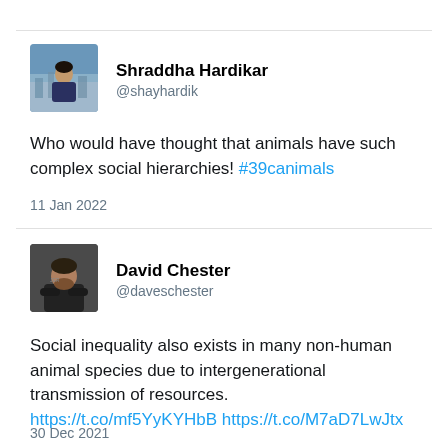[Figure (photo): Profile photo of Shraddha Hardikar, outdoor/cityscape background, person in dark jacket]
Shraddha Hardikar
@shayhardik
Who would have thought that animals have such complex social hierarchies! #39canimals
11 Jan 2022
[Figure (photo): Profile photo of David Chester, man with beard and crossed arms, dark background]
David Chester
@daveschester
Social inequality also exists in many non-human animal species due to intergenerational transmission of resources. https://t.co/mf5YyKYHbB https://t.co/M7aD7LwJtx
30 Dec 2021